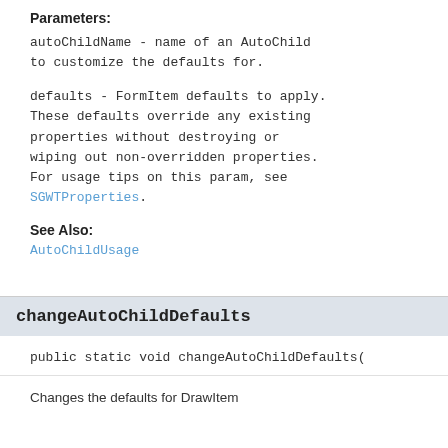Parameters:
autoChildName - name of an AutoChild to customize the defaults for.
defaults - FormItem defaults to apply. These defaults override any existing properties without destroying or wiping out non-overridden properties. For usage tips on this param, see SGWTProperties.
See Also:
AutoChildUsage
changeAutoChildDefaults
public static void changeAutoChildDefaults(
Changes the defaults for DrawItem